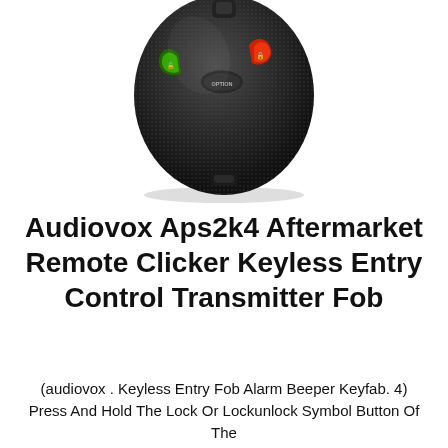[Figure (photo): A black Audiovox APS2K4 keyless entry remote control fob with colored buttons (green, red, and a smaller gray option button) on a white background, viewed from above.]
Audiovox Aps2k4 Aftermarket Remote Clicker Keyless Entry Control Transmitter Fob
(audiovox . Keyless Entry Fob Alarm Beeper Keyfab. 4) Press And Hold The Lock Or Lockunlock Symbol Button Of The